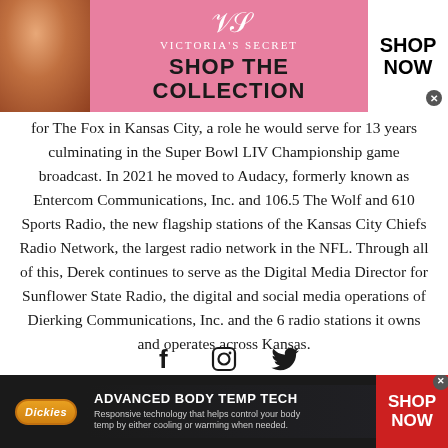[Figure (other): Victoria's Secret advertisement banner with woman photo, VS logo, 'SHOP THE COLLECTION' text, and SHOP NOW button]
for The Fox in Kansas City, a role he would serve for 13 years culminating in the Super Bowl LIV Championship game broadcast. In 2021 he moved to Audacy, formerly known as Entercom Communications, Inc. and 106.5 The Wolf and 610 Sports Radio, the new flagship stations of the Kansas City Chiefs Radio Network, the largest radio network in the NFL. Through all of this, Derek continues to serve as the Digital Media Director for Sunflower State Radio, the digital and social media operations of Dierking Communications, Inc. and the 6 radio stations it owns and operates across Kansas.
[Figure (other): Social media icons: Facebook (f), Instagram (camera), Twitter (bird)]
[Figure (other): Dickies advertisement banner with logo, 'ADVANCED BODY TEMP TECH' headline, description text, and SHOP NOW button]